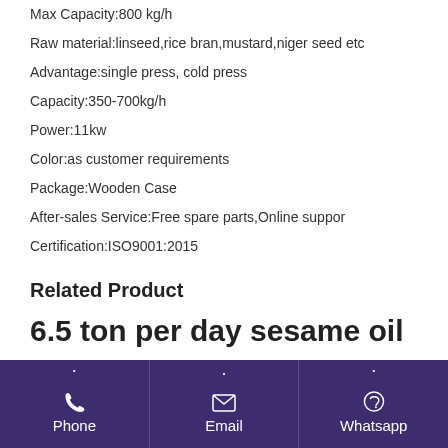Max Capacity:800 kg/h
Raw material:linseed,rice bran,mustard,niger seed etc
Advantage:single press, cold press
Capacity:350-700kg/h
Power:11kw
Color:as customer requirements
Package:Wooden Case
After-sales Service:Free spare parts,Online suppor
Certification:ISO9001:2015
Related Product
6.5 ton per day sesame oil
Phone | Email | Whatsapp